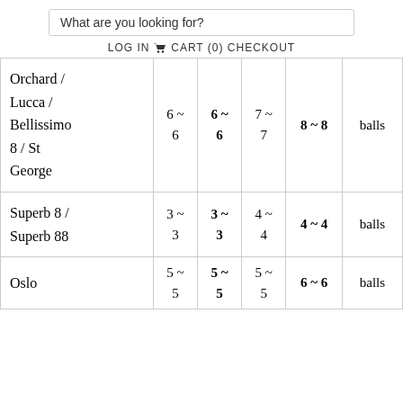What are you looking for?
LOG IN  CART (0)  CHECKOUT
|  |  |  |  |  |  |
| --- | --- | --- | --- | --- | --- |
| Orchard / Lucca / Bellissimo 8 / St George | 6 ~ 6 | 6 ~ 6 | 7 ~ 7 | 8 ~ 8 | balls |
| Superb 8 / Superb 88 | 3 ~ 3 | 3 ~ 3 | 4 ~ 4 | 4 ~ 4 | balls |
| Oslo | 5 ~ 5 | 5 ~ 5 | 5 ~ 5 | 6 ~ 6 | balls |